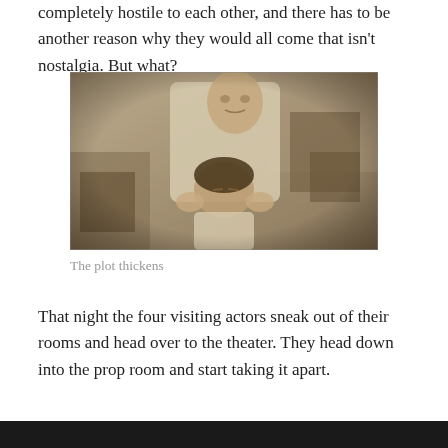completely hostile to each other, and there has to be another reason why they would all come that isn't nostalgia. But what?
[Figure (photo): Sepia/black-and-white vintage photograph of a man standing behind a woman who is seated, both in a room with furniture in the background. The man is wearing a white shirt and looking down at the woman.]
The plot thickens
That night the four visiting actors sneak out of their rooms and head over to the theater. They head down into the prop room and start taking it apart.